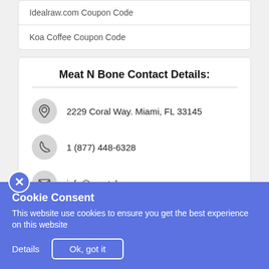Idealraw.com Coupon Code
Koa Coffee Coupon Code
Meat N Bone Contact Details:
2229 Coral Way. Miami, FL 33145
1 (877) 448-6328
info@meatnbone.com
Cookie Consent
This website use cookies to ensure you get the best experience on this website
Details   Ok, got it